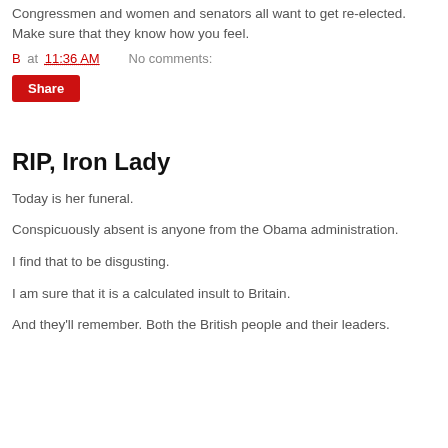Congressmen and women and senators all want to get re-elected. Make sure that they know how you feel.
B at 11:36 AM    No comments:
Share
RIP, Iron Lady
Today is her funeral.
Conspicuously absent is anyone from the Obama administration.
I find that to be disgusting.
I am sure that it is a calculated insult to Britain.
And they'll remember. Both the British people and their leaders.